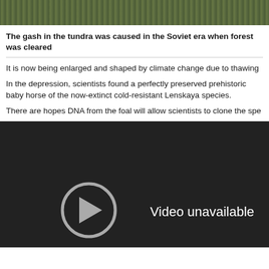[Figure (photo): Aerial or close-up photograph of tundra landscape with dense dark green vegetation or moss texture]
The gash in the tundra was caused in the Soviet era when forest was cleared
It is now being enlarged and shaped by climate change due to thawing
In the depression, scientists found a perfectly preserved prehistoric baby horse of the now-extinct cold-resistant Lenskaya species.
There are hopes DNA from the foal will allow scientists to clone the species
[Figure (screenshot): Dark video player panel showing 'Video unavailable' message with a circular icon]